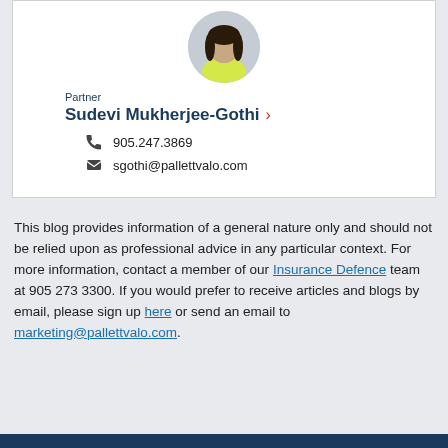[Figure (photo): Circular headshot photo of Sudevi Mukherjee-Gothi, a woman with dark hair wearing a yellow outfit]
Partner
Sudevi Mukherjee-Gothi
905.247.3869
sgothi@pallettvalo.com
This blog provides information of a general nature only and should not be relied upon as professional advice in any particular context. For more information, contact a member of our Insurance Defence team at 905 273 3300. If you would prefer to receive articles and blogs by email, please sign up here or send an email to marketing@pallettvalo.com.